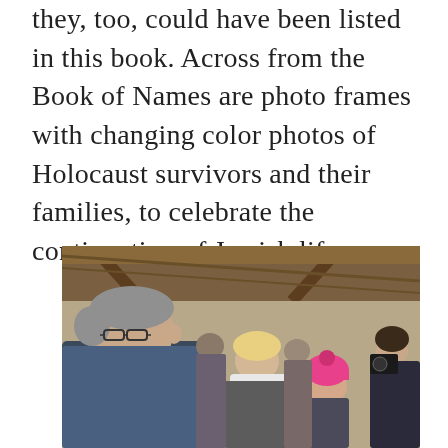they, too, could have been listed in this book. Across from the Book of Names are photo frames with changing color photos of Holocaust survivors and their families, to celebrate the continuation of Jewish life.
[Figure (photo): A man with grey hair and glasses speaking to a group of people including a woman and a young girl wearing a bright pink hat, inside a wooden barn-like structure. A young man is photographing with a camera in the background.]